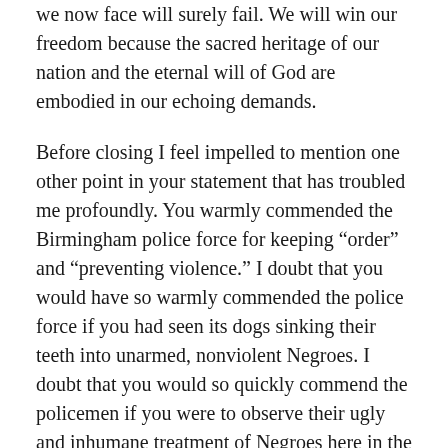we now face will surely fail. We will win our freedom because the sacred heritage of our nation and the eternal will of God are embodied in our echoing demands.
Before closing I feel impelled to mention one other point in your statement that has troubled me profoundly. You warmly commended the Birmingham police force for keeping “order” and “preventing violence.” I doubt that you would have so warmly commended the police force if you had seen its dogs sinking their teeth into unarmed, nonviolent Negroes. I doubt that you would so quickly commend the policemen if you were to observe their ugly and inhumane treatment of Negroes here in the city jail; if you were to watch them push and curse old Negro women and young Negro girls; if you were to see them slap and kick old Negro men and young boys; if you